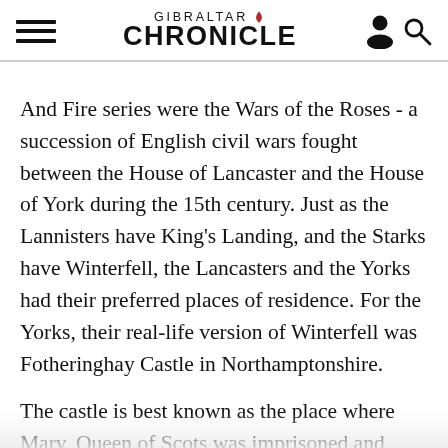Gibraltar Chronicle
And Fire series were the Wars of the Roses - a succession of English civil wars fought between the House of Lancaster and the House of York during the 15th century. Just as the Lannisters have King's Landing, and the Starks have Winterfell, the Lancasters and the Yorks had their preferred places of residence. For the Yorks, their real-life version of Winterfell was Fotheringhay Castle in Northamptonshire.
The castle is best known as the place where Mary, Queen of Scots was imprisoned and finally beheaded in 1587. The remains of Fotheringhay Castle can be visited along the River Nene, in the